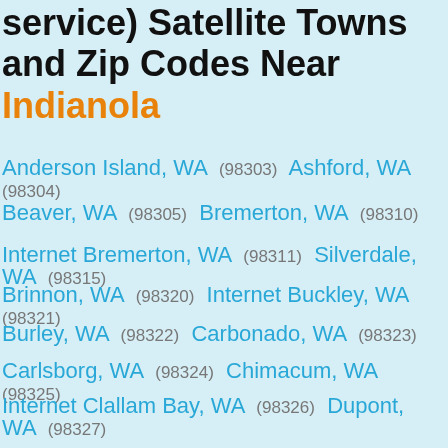service) Satellite Towns and Zip Codes Near Indianola
Anderson Island, WA (98303) Ashford, WA (98304)
Beaver, WA (98305) Bremerton, WA (98310)
Internet Bremerton, WA (98311) Silverdale, WA (98315)
Brinnon, WA (98320) Internet Buckley, WA (98321)
Burley, WA (98322) Carbonado, WA (98323)
Carlsborg, WA (98324) Chimacum, WA (98325)
Internet Clallam Bay, WA (98326) Dupont, WA (98327)
Eatonville, WA (98328) Gig Harbor, WA (98329)
Elbe, WA (98330) Internet Forks, WA (98331)
Fox Island, WA (98333) Glenoma, WA (98336)